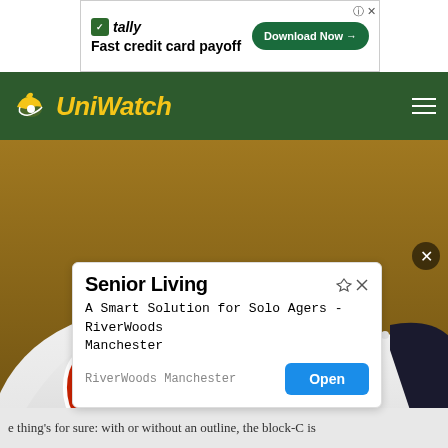[Figure (other): Tally app advertisement banner: 'Fast credit card payoff' with Download Now button]
[Figure (logo): Uni Watch logo with yellow italic script text on dark green navigation bar with hamburger menu]
[Figure (photo): Two baseball caps with block-C logos (Cleveland Indians / Guardians style), navy and white, one with AZ Spring Training patch]
[Figure (other): Senior Living advertisement overlay: 'A Smart Solution for Solo Agers - RiverWoods Manchester' with Open button]
e thing's for sure: with or without an outline, the block-C is